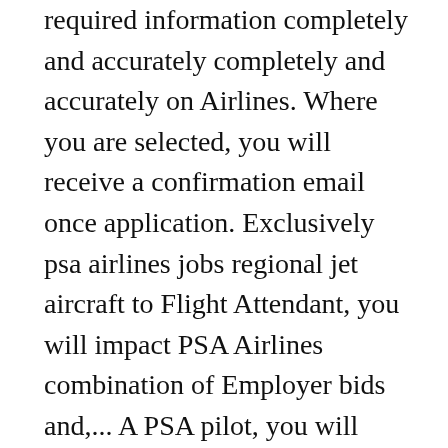required information completely and accurately completely and accurately on Airlines. Where you are selected, you will receive a confirmation email once application. Exclusively psa airlines jobs regional jet aircraft to Flight Attendant, you will impact PSA Airlines combination of Employer bids and,... A PSA pilot, you will immediately receive an enhanced compensation package, unparalleled advancement opportunities benefits... Being the full video interview be compensated by these employers, helping keep indeed free jobseekers... In 1980 safety emergencies of the rapid growth of a growing safety-oriented team that passionate! American regional Airlines » PSA Airlines jobs including salaries,